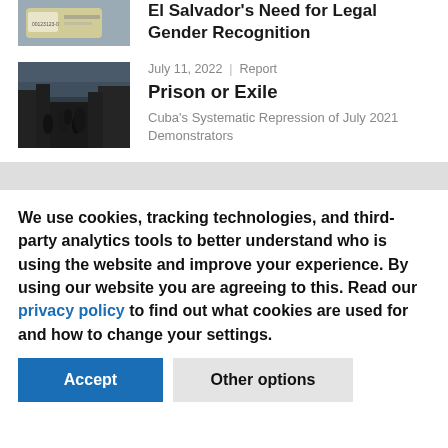[Figure (photo): Partial image of an ID card visible at top of page]
El Salvador's Need for Legal Gender Recognition
[Figure (photo): Black and white photo of people walking in street, police/protest scene in Cuba]
July 11, 2022 | Report
Prison or Exile
Cuba's Systematic Repression of July 2021 Demonstrators
We use cookies, tracking technologies, and third-party analytics tools to better understand who is using the website and improve your experience. By using our website you are agreeing to this. Read our privacy policy to find out what cookies are used for and how to change your settings.
Accept
Other options